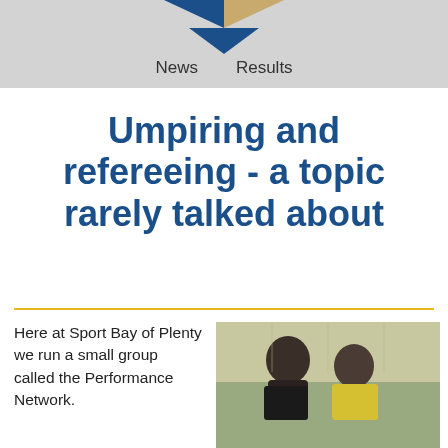News   Results
Umpiring and refereeing - a topic rarely talked about
Here at Sport Bay of Plenty we run a small group called the Performance Network.
[Figure (photo): Two people viewed from behind, one wearing a yellow/hi-vis jacket, in what appears to be a sports hall.]